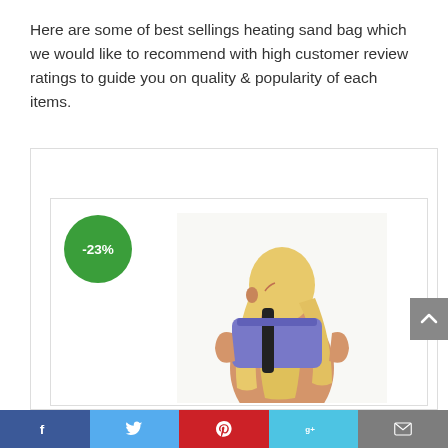Here are some of best sellings heating sand bag which we would like to recommend with high customer review ratings to guide you on quality & popularity of each items.
BEST RESULTS FOR HEATING SAND BAG
[Figure (photo): Product card showing a woman with long blonde hair wearing a purple/blue heating pad on her shoulder, viewed from behind. A green circle badge shows -23% discount.]
ThermiPaq Reusable Ice Pack and Hot Cold Pack For Injuries – Shoulder, Elbow, Ankles, Back and Knee Ice Pack, X-Large, 9.5 inches x